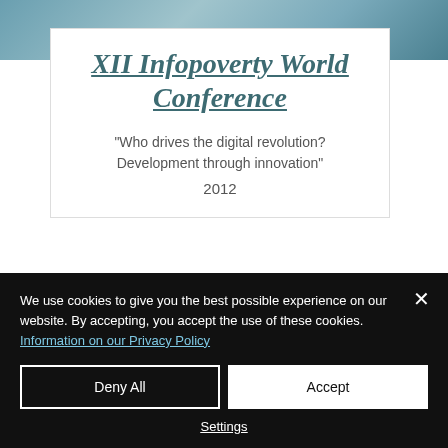[Figure (photo): Teal/blue background photograph at the top of the page]
XII Infopoverty World Conference
"Who drives the digital revolution? Development through innovation" 2012
We use cookies to give you the best possible experience on our website. By accepting, you accept the use of these cookies. Information on our Privacy Policy
Deny All
Accept
Settings